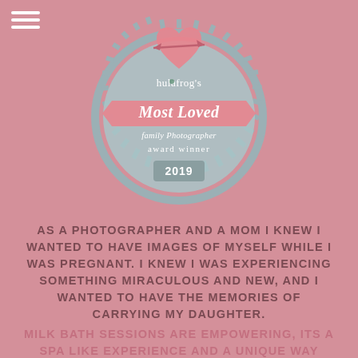[Figure (logo): Hulafrog's Most Loved Family Photographer award winner 2019 badge — circular badge with teal/gray border with gear-tooth edge, pink/rose ribbon banner reading 'Most Loved', cursive text 'family Photographer', text 'award winner', year '2019' in rectangular tab, and a pink heart with arrow at top.]
AS A PHOTOGRAPHER AND A MOM I KNEW I WANTED TO HAVE IMAGES OF MYSELF WHILE I WAS PREGNANT. I KNEW I WAS EXPERIENCING SOMETHING MIRACULOUS AND NEW, AND I WANTED TO HAVE THE MEMORIES OF CARRYING MY DAUGHTER.
MILK BATH SESSIONS ARE EMPOWERING, ITS A SPA LIKE EXPERIENCE AND A UNIQUE WAY